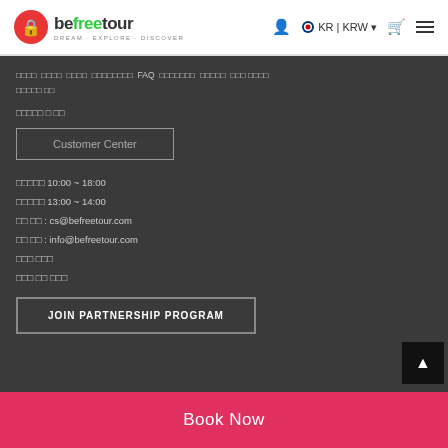befreetour DREAM·EXPLORE·DISCOVER — KR | KRW
□□□□ □□□□ □□□□ □□□□□□□□ FAQ □□□□□□□ □□□□□ □□□ □□□□ □□□□□ □□
□□□□□ □ □□
Customer Center
□□□□□ 10:00 ~ 18:00
□□□□□ 13:00 ~ 14:00
□□ □□ : cs@befreetour.com
□□ □□ : info@befreetour.com
□□□ □□□
□□□ □□ □□□
JOIN PARTNERSHIP PROGRAM
Book Now